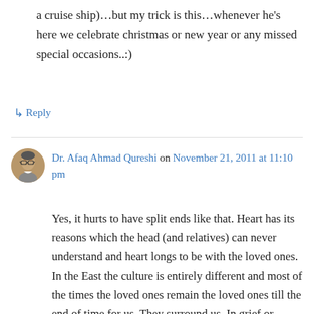a cruise ship)…but my trick is this…whenever he's here we celebrate christmas or new year or any missed special occasions..:)
↳ Reply
Dr. Afaq Ahmad Qureshi on November 21, 2011 at 11:10 pm
Yes, it hurts to have split ends like that. Heart has its reasons which the head (and relatives) can never understand and heart longs to be with the loved ones. In the East the culture is entirely different and most of the times the loved ones remain the loved ones till the end of time for us. They surround us. In grief or happiness you are accustomed to feel their presence and there is